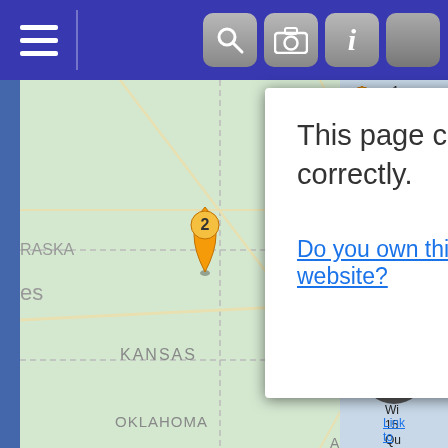[Figure (screenshot): Mobile app screenshot showing a Google Maps interface with a dialog box saying 'This page can't load Google Maps correctly.' with options 'Do you own this website?' and 'OK'. The map shows the US Midwest region including Iowa, Illinois, Missouri, Kansas, Oklahoma, Arkansas. There are map markers numbered 1 and 2. A right sidebar shows marker details. Top navigation bar has hamburger menu and toolbar icons (search, camera, info, more).]
This page can't load Google Maps correctly.
Do you own this website?
OK
Link to